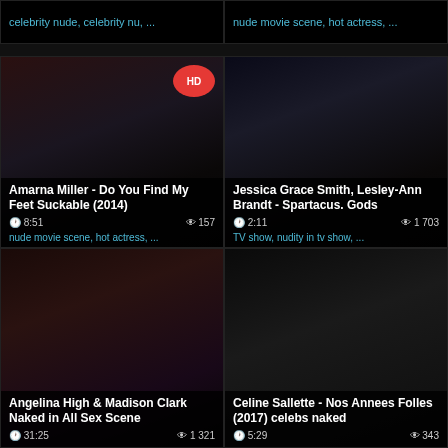[Figure (screenshot): Video thumbnail - dark blurred image, left top]
celebrity nude, celebrity nu, ...
[Figure (screenshot): Video thumbnail - dark scene, right top]
nude movie scene, hot actress, ...
[Figure (screenshot): Video thumbnail with HD badge - Amarna Miller - Do You Find My Feet Suckable (2014), 8:51, 157 views]
Amarna Miller - Do You Find My Feet Suckable (2014)
nude movie scene, hot actress, ...
[Figure (screenshot): Video thumbnail - Jessica Grace Smith, Lesley-Ann Brandt - Spartacus. Gods, 2:11, 1 703 views]
Jessica Grace Smith, Lesley-Ann Brandt - Spartacus. Gods
TV show, nudity in tv show, ...
[Figure (screenshot): Video thumbnail - Angelina High & Madison Clark Naked in All Sex Scene, 31:25, 1 321 views]
Angelina High & Madison Clark Naked in All Sex Scene
[Figure (screenshot): Video thumbnail - Celine Sallette - Nos Annees Folles (2017) celebs naked, 5:29, 343 views]
Celine Sallette - Nos Annees Folles (2017) celebs naked